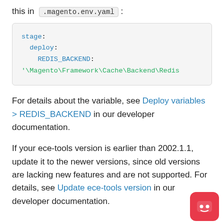this in .magento.env.yaml :
stage:
  deploy:
    REDIS_BACKEND:
'\Magento\Framework\Cache\Backend\Redis
For details about the variable, see Deploy variables > REDIS_BACKEND in our developer documentation.
If your ece-tools version is earlier than 2002.1.1, update it to the newer versions, since old versions are lacking new features and are not supported. For details, see Update ece-tools version in our developer documentation.